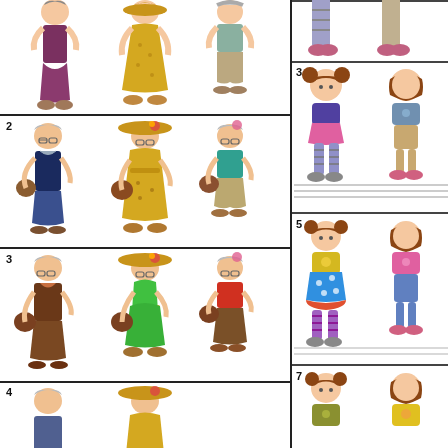[Figure (illustration): Sewing/craft pattern sheet showing elderly women and young girls in various outfits. Left panel contains numbered sections (1-4+) with three elderly women figures per section wearing different clothing styles. Right panel contains numbered sections (3, 5, 7+) showing pairs of young girls sitting on benches in different outfits.]